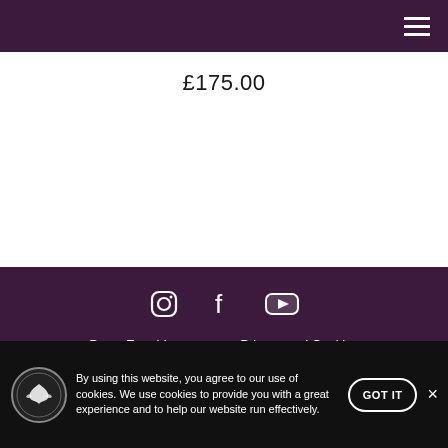£175.00
Press Enquiries | Privacy and Cookies | Terms of service | Shipping and returns | Become a retailer
By using this website, you agree to our use of cookies. We use cookies to provide you with a great experience and to help our website run effectively.